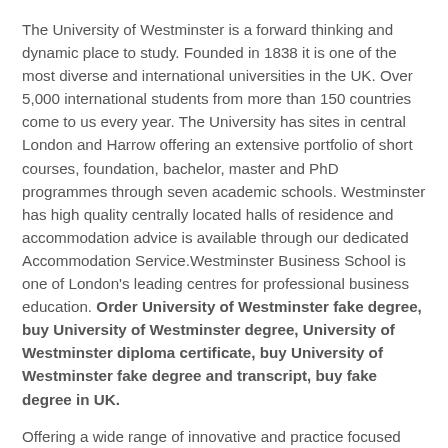The University of Westminster is a forward thinking and dynamic place to study. Founded in 1838 it is one of the most diverse and international universities in the UK. Over 5,000 international students from more than 150 countries come to us every year. The University has sites in central London and Harrow offering an extensive portfolio of short courses, foundation, bachelor, master and PhD programmes through seven academic schools. Westminster has high quality centrally located halls of residence and accommodation advice is available through our dedicated Accommodation Service.Westminster Business School is one of London's leading centres for professional business education. Order University of Westminster fake degree, buy University of Westminster degree, University of Westminster diploma certificate, buy University of Westminster fake degree and transcript, buy fake degree in UK.
Offering a wide range of innovative and practice focused programmes including MBA, professional and executive education